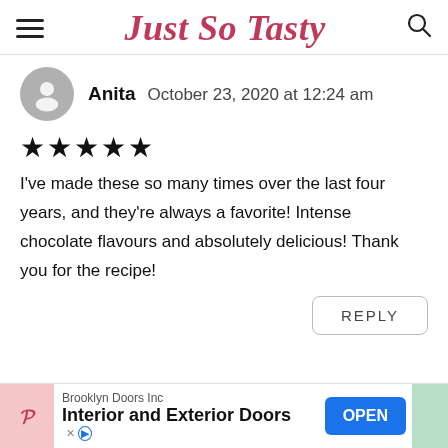Just So Tasty
Anita  October 23, 2020 at 12:24 am
★★★★★
I've made these so many times over the last four years, and they're always a favorite! Intense chocolate flavours and absolutely delicious! Thank you for the recipe!
REPLY
Brooklyn Doors Inc
Interior and Exterior Doors
OPEN